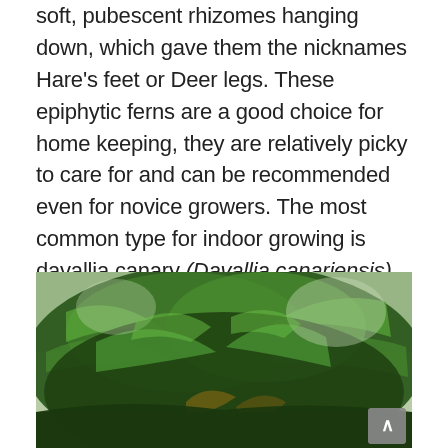soft, pubescent rhizomes hanging down, which gave them the nicknames Hare's feet or Deer legs. These epiphytic ferns are a good choice for home keeping, they are relatively picky to care for and can be recommended even for novice growers. The most common type for indoor growing is davallia canary (Davallia canariensis), although other species require approximately the same conditions.
[Figure (photo): A lush green fern plant, likely Davallia (Hare's foot fern), with dense fronds visible from below against a light background.]